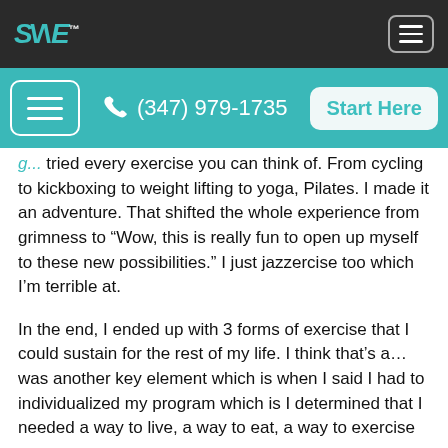SANE (logo) | menu button
(347) 979-1735 | Start Here
tried every exercise you can think of. From cycling to kickboxing to weight lifting to yoga, Pilates. I made it an adventure. That shifted the whole experience from grimness to “Wow, this is really fun to open up myself to these new possibilities.” I just jazzercise too which I’m terrible at.
In the end, I ended up with 3 forms of exercise that I could sustain for the rest of my life. I think that’s a… was another key element which is when I said I had to individualized my program which is I determined that I needed a way to live, a way to eat, a way to exercise